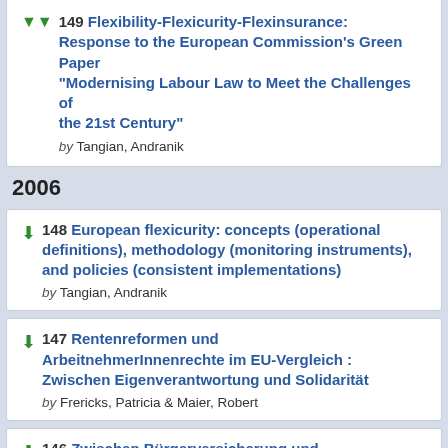149 Flexibility-Flexicurity-Flexinsurance: Response to the European Commission's Green Paper "Modernising Labour Law to Meet the Challenges of the 21st Century" by Tangian, Andranik
2006
148 European flexicurity: concepts (operational definitions), methodology (monitoring instruments), and policies (consistent implementations) by Tangian, Andranik
147 Rentenreformen und ArbeitnehmerInnenrechte im EU-Vergleich : Zwischen Eigenverantwortung und Solidarität by Frericks, Patricia & Maier, Robert
146 Zwischen Bürgerversicherung und Kopfpauschale : Vorschläge für eine tragfähige